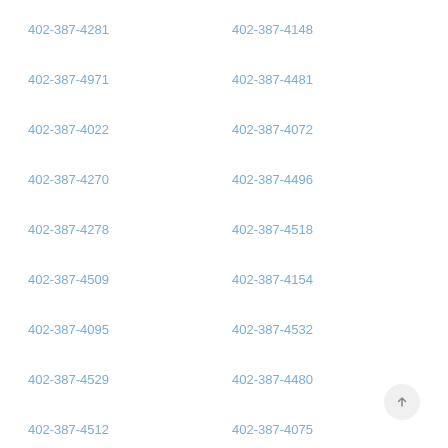402-387-4281
402-387-4148
402-387-4971
402-387-4481
402-387-4022
402-387-4072
402-387-4270
402-387-4496
402-387-4278
402-387-4518
402-387-4509
402-387-4154
402-387-4095
402-387-4532
402-387-4529
402-387-4480
402-387-4512
402-387-4075